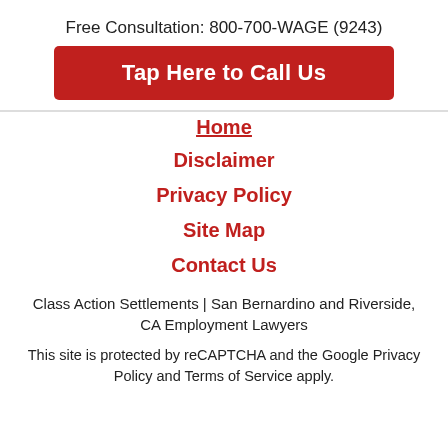Free Consultation: 800-700-WAGE (9243)
Tap Here to Call Us
Home
Disclaimer
Privacy Policy
Site Map
Contact Us
Class Action Settlements | San Bernardino and Riverside, CA Employment Lawyers
This site is protected by reCAPTCHA and the Google Privacy Policy and Terms of Service apply.